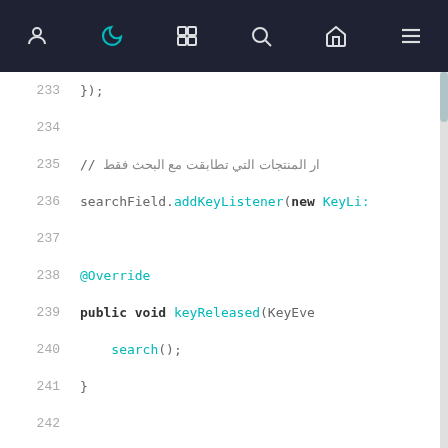[Figure (screenshot): Mobile app navigation bar with icons: user profile, moon/dark mode (active, cyan), palette/colors, search, home, menu]
233   });
234   
235   // ار المنتجات التي تطابقت مع البحث فقط
236   searchField.addKeyListener(new KeyLi:
237   
238       @Override
239       public void keyReleased(KeyEve
240           search();
241       }
242   
243       @Override
244       public void keyTyped(KeyEvent
245   
246       @Override
247       public void keyPressed(KeyEven